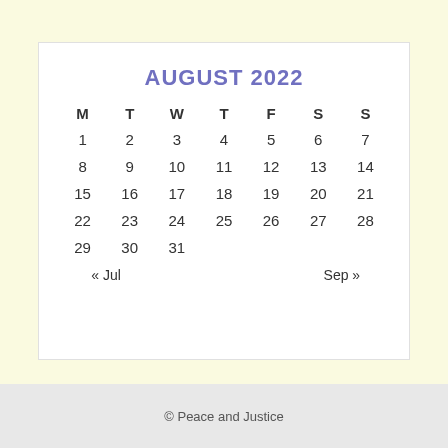AUGUST 2022
| M | T | W | T | F | S | S |
| --- | --- | --- | --- | --- | --- | --- |
| 1 | 2 | 3 | 4 | 5 | 6 | 7 |
| 8 | 9 | 10 | 11 | 12 | 13 | 14 |
| 15 | 16 | 17 | 18 | 19 | 20 | 21 |
| 22 | 23 | 24 | 25 | 26 | 27 | 28 |
| 29 | 30 | 31 |  |  |  |  |
| « Jul |  |  |  |  | Sep » |  |
© Peace and Justice